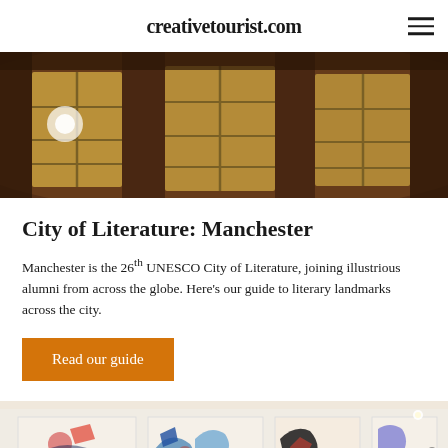creativetourist.com
[Figure (photo): Nighttime exterior of a curved brick building with large multi-pane windows illuminated from inside, showing a grand institutional or library building facade]
City of Literature: Manchester
Manchester is the 26th UNESCO City of Literature, joining illustrious alumni from across the globe. Here's our guide to literary landmarks across the city.
Read our guide
[Figure (photo): Gallery wall showing multiple abstract artworks displayed in a grid pattern, featuring colorful expressionist paintings with blues, reds and blacks on a white gallery wall]